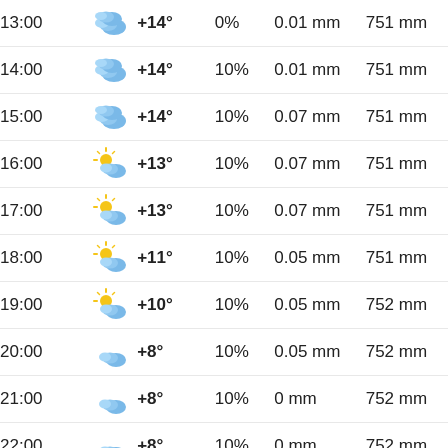| Time | Icon | Temp | Precip% | Rain mm | Pressure mmHg |
| --- | --- | --- | --- | --- | --- |
| 13:00 | partly-cloudy | +14° | 0% | 0.01 mm | 751 mm |
| 14:00 | partly-cloudy | +14° | 10% | 0.01 mm | 751 mm |
| 15:00 | partly-cloudy | +14° | 10% | 0.07 mm | 751 mm |
| 16:00 | sun-partly-cloudy | +13° | 10% | 0.07 mm | 751 mm |
| 17:00 | sun-partly-cloudy | +13° | 10% | 0.07 mm | 751 mm |
| 18:00 | sun-partly-cloudy | +11° | 10% | 0.05 mm | 751 mm |
| 19:00 | sun-partly-cloudy | +10° | 10% | 0.05 mm | 752 mm |
| 20:00 | night-partly-cloudy | +8° | 10% | 0.05 mm | 752 mm |
| 21:00 | night-partly-cloudy | +8° | 10% | 0 mm | 752 mm |
| 22:00 | night-partly-cloudy | +8° | 10% | 0 mm | 752 mm |
| 23:00 | night-partly-cloudy | +8° | 10% | 0 mm | 753 mm |